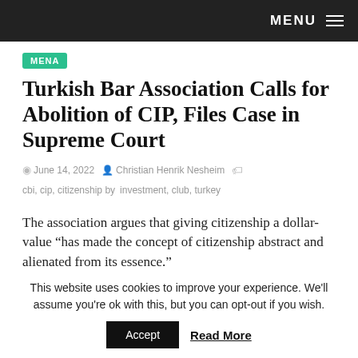MENU
MENA
Turkish Bar Association Calls for Abolition of CIP, Files Case in Supreme Court
June 14, 2022  Christian Henrik Nesheim  cbi, cip, citizenship by investment, club, turkey
The association argues that giving citizenship a dollar-value “has made the concept of citizenship abstract and alienated from its essence.”
This website uses cookies to improve your experience. We'll assume you're ok with this, but you can opt-out if you wish.